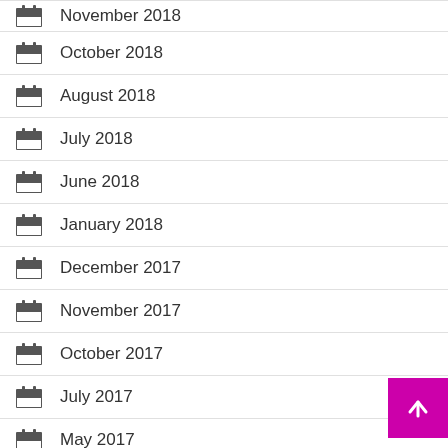November 2018
October 2018
August 2018
July 2018
June 2018
January 2018
December 2017
November 2017
October 2017
July 2017
May 2017
March 2017
January 2017
October 2016